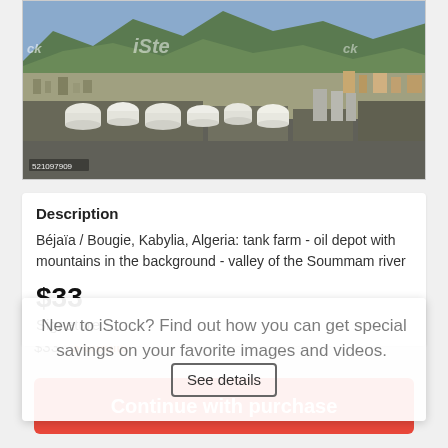[Figure (photo): Aerial/elevated view of Béjaïa / Bougie, Kabylia, Algeria showing a tank farm oil depot with white cylindrical storage tanks, industrial buildings, and mountains in the background. iStock watermark visible. Image ID: 521097909]
Description
Béjaïa / Bougie, Kabylia, Algeria: tank farm - oil depot with mountains in the background - valley of the Soummam river
$33
Signature
New to iStock? Find out how you can get special savings on your favorite images and videos.
See details
$33 | 3 credits
Continue with purchase